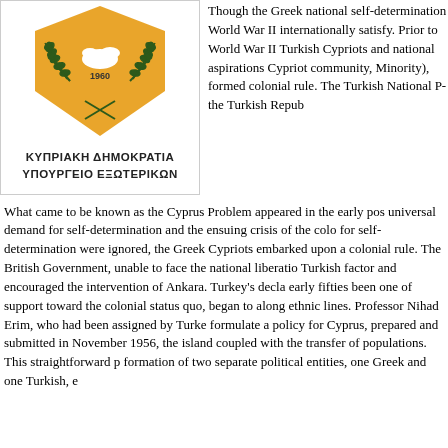[Figure (logo): Coat of arms of the Republic of Cyprus with olive branches and the year 1960, accompanied by Greek text ΚΥΠΡΙΑΚΗ ΔΗΜΟΚΡΑΤΙΑ and ΥΠΟΥΡΓΕΙΟ ΕΞΩΤΕΡΙΚΩΝ]
Though the Greek national self-determination World War II internationally satisfy. Prior to World War II Turkish Cypriots and national aspirations Cypriot community, Minority), formed colonial rule. The Turkish National Party the Turkish Republic
What came to be known as the Cyprus Problem appeared in the early post universal demand for self-determination and the ensuing crisis of the colonial for self-determination were ignored, the Greek Cypriots embarked upon a colonial rule. The British Government, unable to face the national liberation Turkish factor and encouraged the intervention of Ankara. Turkey's declaration early fifties been one of support toward the colonial status quo, began to along ethnic lines. Professor Nihad Erim, who had been assigned by Turkey to formulate a policy for Cyprus, prepared and submitted in November 1956, the island coupled with the transfer of populations. This straightforward proposal formation of two separate political entities, one Greek and one Turkish, e